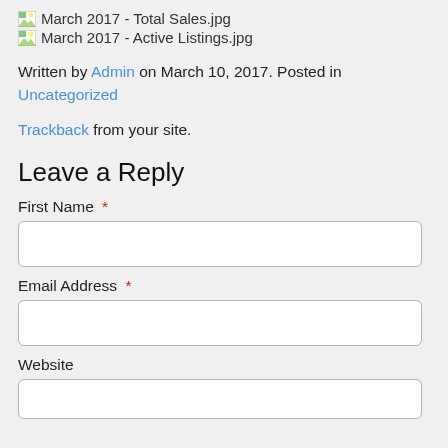[Figure (other): Broken image icon with text: March 2017 - Total Sales.jpg]
[Figure (other): Broken image icon with text: March 2017 - Active Listings.jpg]
Written by Admin on March 10, 2017. Posted in Uncategorized
Trackback from your site.
Leave a Reply
First Name *
Email Address *
Website